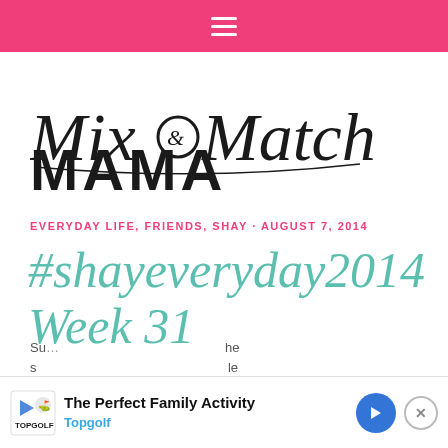Navigation bar with hamburger menu
[Figure (logo): Mix & Match Mama blog logo — cursive 'Mix & Match' with bold uppercase 'MAMA']
EVERYDAY LIFE, FRIENDS, SHAY · AUGUST 7, 2014
#shayeveryday2014 Week 31
[Figure (other): Advertisement banner: The Perfect Family Activity - Topgolf]